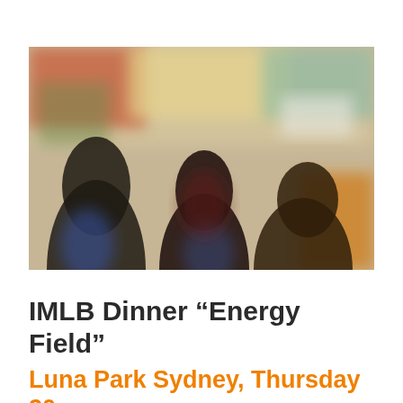[Figure (photo): Blurred photo of people gathered indoors, colorful background with posters or artwork on the wall. Dark silhouettes of multiple individuals visible, warm and cool tones throughout.]
IMLB Dinner “Energy Field”
Luna Park Sydney, Thursday 20